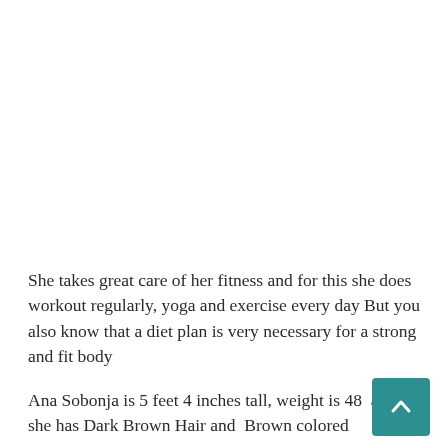She takes great care of her fitness and for this she does workout regularly, yoga and exercise every day But you also know that a diet plan is very necessary for a strong and fit body
Ana Sobonja is 5 feet 4 inches tall, weight is 48 and she has Dark Brown Hair and  Brown colored